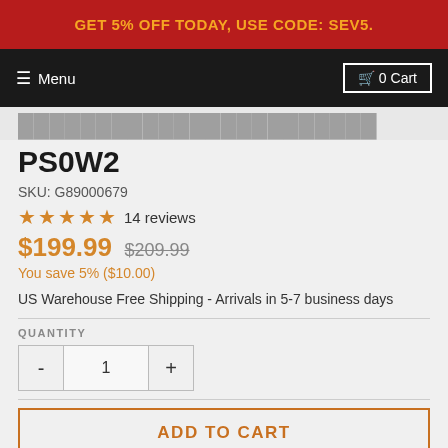GET 5% OFF TODAY, USE CODE: SEV5.
Menu  0 Cart
PS0W2
SKU: G89000679
★★★★★ 14 reviews
$199.99  $209.99
You save 5% ($10.00)
US Warehouse Free Shipping - Arrivals in 5-7 business days
QUANTITY
- 1 +
ADD TO CART